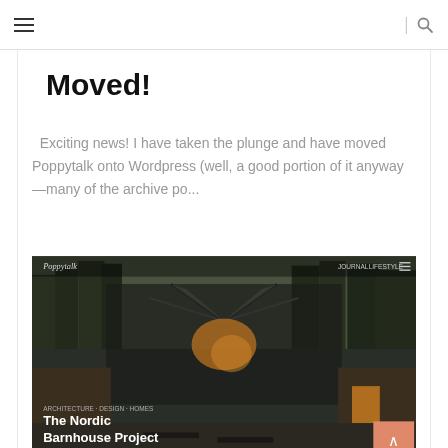≡  |  🔍
Moved!
Exciting news! I have taken the plunge and have moved Poppytalk onto Wordpress (well, a good portion of it anyway —many of the archive po...
[Figure (screenshot): Screenshot of a website called Poppytalk showing a Nordic Barnhouse Project article with a dark architectural photo of a glass and wood structure among trees. There is a salmon/orange back-to-top arrow button in the lower right of the screenshot.]